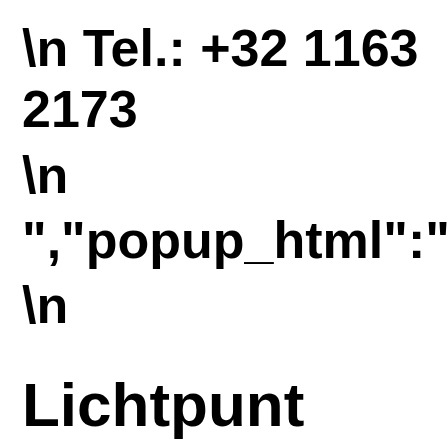\n Tel.: +32 1163 2173
\n
","popup_html":"
\n
Lichtpunt